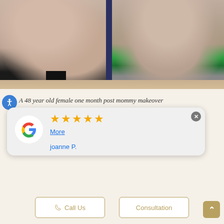[Figure (photo): Before and after photo pair showing female torso, one month post mommy makeover. Left image shows frontal view with pixelated censoring at bottom. Right image shows angled view with green underwear/bandage visible.]
A 48 year old female one month post mommy makeover
[Figure (other): Google review card showing 5 gold stars, a 'More' link, and reviewer name 'joanne P.' with Google logo on left and close button on right.]
Call Us
Consultation